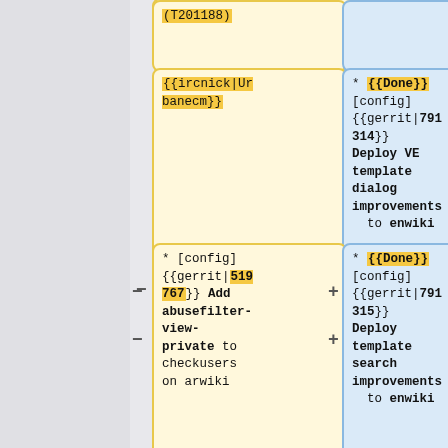[Figure (flowchart): Wiki deployment flowchart showing yellow left boxes with config/gerrit change requests and blue right boxes with Done status and deploy actions. Top yellow box shows (T201188), second yellow box shows {{ircnick|Urbanecm}}, third yellow box shows * [config] {{gerrit|519767}} Add abusefilter-view-private to checkusers on arwiki. Blue boxes show * {{Done}} [config] {{gerrit|791314}} Deploy VE template dialog improvements to enwiki and * {{Done}} [config] {{gerrit|791315}} Deploy template search improvements to enwiki.]